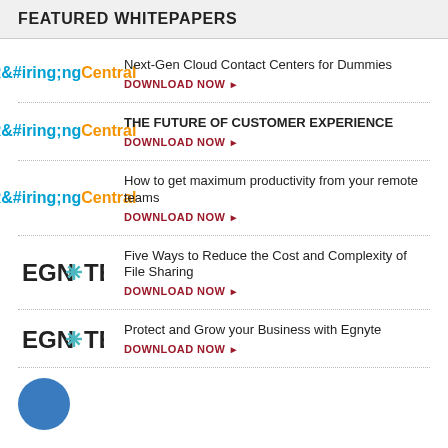FEATURED WHITEPAPERS
Next-Gen Cloud Contact Centers for Dummies | DOWNLOAD NOW
THE FUTURE OF CUSTOMER EXPERIENCE | DOWNLOAD NOW
How to get maximum productivity from your remote teams | DOWNLOAD NOW
Five Ways to Reduce the Cost and Complexity of File Sharing | DOWNLOAD NOW
Protect and Grow your Business with Egnyte | DOWNLOAD NOW